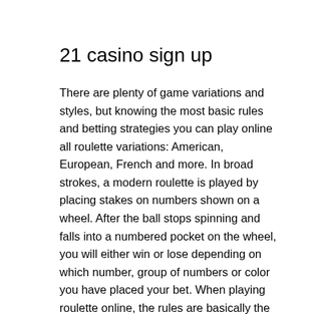21 casino sign up
There are plenty of game variations and styles, but knowing the most basic rules and betting strategies you can play online all roulette variations: American, European, French and more. In broad strokes, a modern roulette is played by placing stakes on numbers shown on a wheel. After the ball stops spinning and falls into a numbered pocket on the wheel, you will either win or lose depending on which number, group of numbers or color you have placed your bet. When playing roulette online, the rules are basically the same as when playing at a brick and mortar casino you get the same house/player odds, hours of entertainment and the Las Vegas casino atmosphere, 21 casino sign up.